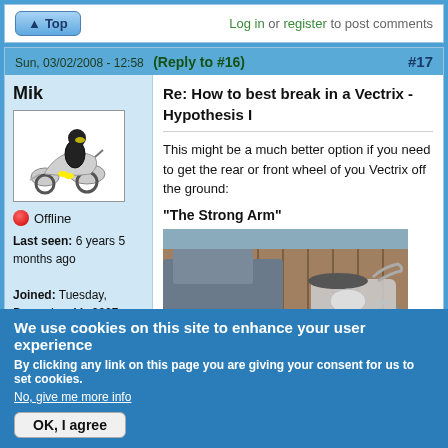Top | Log in or register to post comments
Sun, 03/02/2008 - 12:58 (Reply to #16) #17
Mik
[Figure (illustration): Avatar of user Mik showing a cartoon person riding a scooter/motorcycle]
Offline
Last seen: 6 years 5 months ago
Joined: Tuesday, December 11, 2007 - 15:27
Points: 3739
Re: How to best break in a Vectrix - Hypothesis I
This might be a much better option if you need to get the rear or front wheel of you Vectrix off the ground:
"The Strong Arm"
[Figure (photo): Photo of a large cruiser motorcycle parked next to a car, with a wooden fence in the background]
We use cookies on this site to enhance your user experience
By clicking any link on this page you are giving your consent for us to set cookies.
No, give me more info
OK, I agree